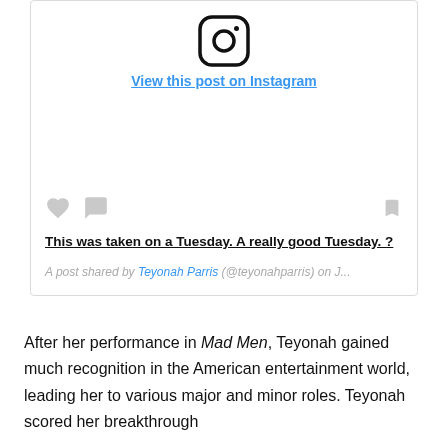[Figure (screenshot): Instagram post embed card showing the Instagram logo at top, a 'View this post on Instagram' link, empty image space, action icons (heart, comment, bookmark), caption text, and attribution line.]
This was taken on a Tuesday. A really good Tuesday. ?
A post shared by Teyonah Parris (@teyonahparris) on J...
After her performance in Mad Men, Teyonah gained much recognition in the American entertainment world, leading her to various major and minor roles. Teyonah scored her breakthrough